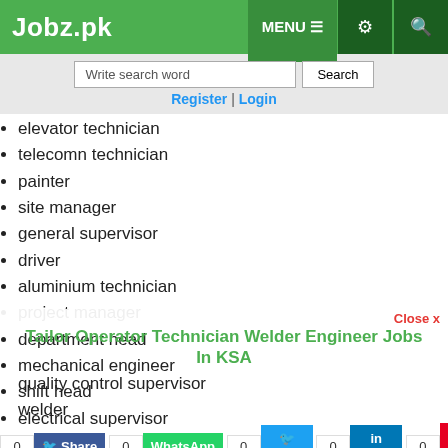Jobz.pk | MENU | settings | search
Write search word | Search
Register | Login
elevator technician
telecomn technician
painter
site manager
general supervisor
driver
aluminium technician
project manager
department head
mechanical engineer
shift head
electrical supervisor
bricklayer
Tailor Operator Technician Welder Engineer Jobs In KSA
quality control supervisor
welder
silicon technician
maintenance manager
hygiene supervisor
accelator technician
civil architectural engineer and steel fixer
Candidates with Middle, Bachelor, Master, B.E and Matric etc. educational background will be preferred.